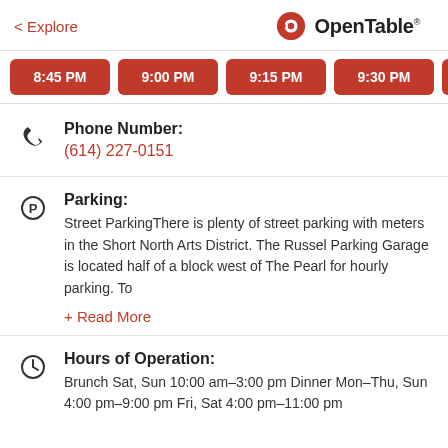< Explore | OpenTable
8:45 PM | 9:00 PM | 9:15 PM | 9:30 PM | 9:45 PM | 10:...
Phone Number: (614) 227-0151
Parking: Street ParkingThere is plenty of street parking with meters in the Short North Arts District. The Russel Parking Garage is located half of a block west of The Pearl for hourly parking. To
+ Read More
Hours of Operation: Brunch Sat, Sun 10:00 am–3:00 pm Dinner Mon–Thu, Sun 4:00 pm–9:00 pm Fri, Sat 4:00 pm–11:00 pm